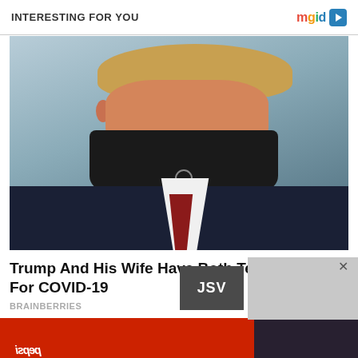INTERESTING FOR YOU    mgid ▶
[Figure (photo): Photo of a man wearing a dark face mask and dark suit, with sandy-blonde hair, facing slightly to the left against a light blue/grey background]
Trump And His Wife Have Both Tested Positive For COVID-19
BRAINBERRIES
[Figure (photo): Partially visible image of a Pepsi-branded building or truck with red containers, partially obscured by a dark overlay on the right side]